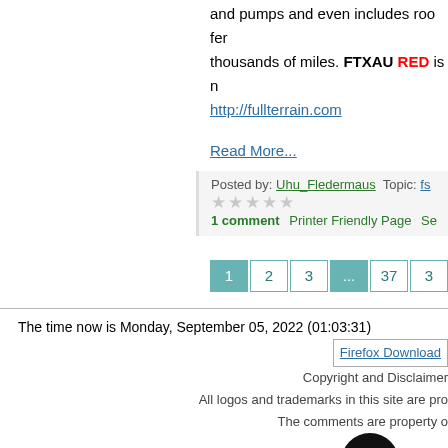and pumps and even includes roo fer... thousands of miles. FTXAU RED is n... http://fullterrain.com
Read More...
Posted by: Uhu_Fledermaus  Topic: fs...  ★★★★★  1 comment  Printer Friendly Page  Se...
1  2  3  ...  37  3
The time now is Monday, September 05, 2022 (01:03:31)
Firefox Download  Copyright and Disclaimer  All logos and trademarks in this site are pro...  The comments are property o...  Website by [logo] www.je...  Interactive software released under GNU GPL...